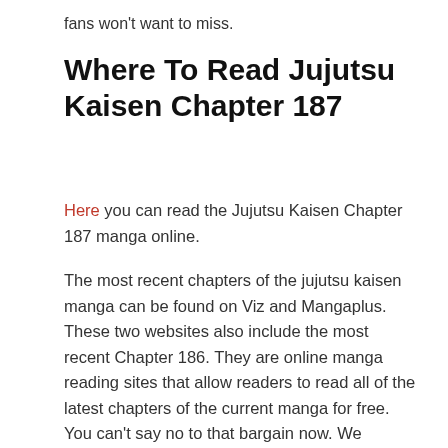fans won't want to miss.
Where To Read Jujutsu Kaisen Chapter 187
Here you can read the Jujutsu Kaisen Chapter 187 manga online.
The most recent chapters of the jujutsu kaisen manga can be found on Viz and Mangaplus. These two websites also include the most recent Chapter 186. They are online manga reading sites that allow readers to read all of the latest chapters of the current manga for free. You can't say no to that bargain now. We oppose reading JJK on illicit manga sites since they do not contribute to the creator's and staff's advancement.